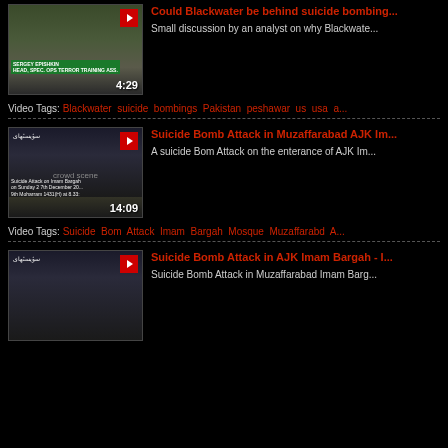[Figure (screenshot): Video thumbnail: military personnel outdoors, duration 4:29]
Could Blackwater be behind suicide bombing...
Small discussion by an analyst on why Blackwate...
Video Tags: Blackwater suicide bombings Pakistan peshawar us usa a...
[Figure (screenshot): Video thumbnail: crowd scene at Imam Bargah, duration 14:09]
Suicide Bomb Attack in Muzaffarabad AJK Im...
A suicide Bom Attack on the enterance of AJK Im...
Video Tags: Suicide Bom Attack Imam Bargah Mosque Muzaffarabd A...
[Figure (screenshot): Video thumbnail: crowd scene similar, partially visible]